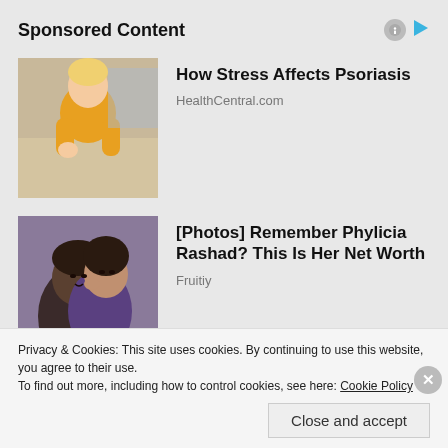Sponsored Content
[Figure (photo): Woman in yellow sweater examining her arm, sponsored health content image for How Stress Affects Psoriasis]
How Stress Affects Psoriasis
HealthCentral.com
[Figure (photo): Two people posing together, sponsored content image for [Photos] Remember Phylicia Rashad? This Is Her Net Worth]
[Photos] Remember Phylicia Rashad? This Is Her Net Worth
Fruitiy
Privacy & Cookies: This site uses cookies. By continuing to use this website, you agree to their use.
To find out more, including how to control cookies, see here: Cookie Policy
Close and accept